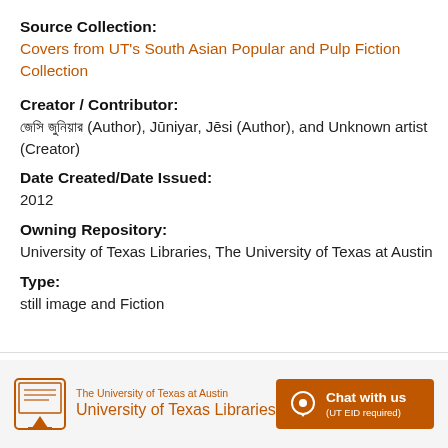Source Collection:
Covers from UT's South Asian Popular and Pulp Fiction Collection
Creator / Contributor:
জেসি জুনিয়ার (Author), Jūniyar, Jēsi (Author), and Unknown artist (Creator)
Date Created/Date Issued:
2012
Owning Repository:
University of Texas Libraries, The University of Texas at Austin
Type:
still image and Fiction
The University of Texas at Austin University of Texas Libraries | Chat with us (UT EID required)